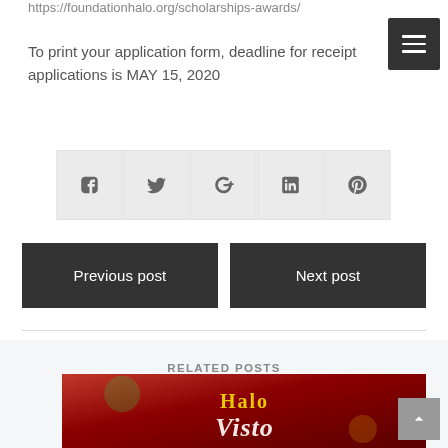https://foundationhalo.org/scholarships-awards/
To print your application form, deadline for receipt applications is MAY 15, 2020
[Figure (other): Social media share buttons: Facebook, Twitter, Google+, LinkedIn, Pinterest]
Previous post
Next post
RELATED POSTS
[Figure (photo): Halo Foundation holiday-themed image with red and green background and cursive text]